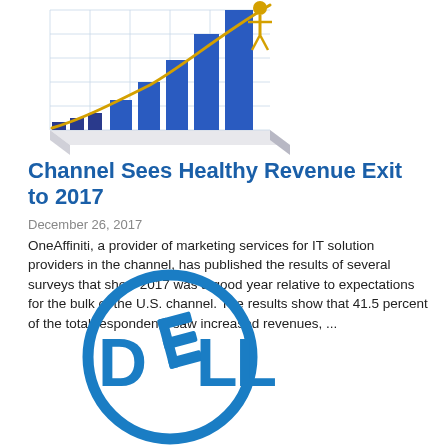[Figure (illustration): Bar chart illustration with blue bars growing in height from left to right, a gold rising curve overlay, and a gold human figure standing on the tallest bar on a white 3D platform surface.]
Channel Sees Healthy Revenue Exit to 2017
December 26, 2017
OneAffiniti, a provider of marketing services for IT solution providers in the channel, has published the results of several surveys that show 2017 was a good year relative to expectations for the bulk of the U.S. channel. The results show that 41.5 percent of the total respondents saw increased revenues, ...
[Figure (logo): Dell logo: blue circle outline containing the bold blue text DELL with a stylized tilted E.]